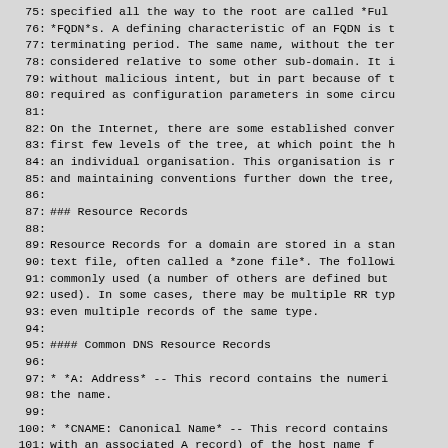75:  specified all the way to the root are called *Ful
76:  *FQDN*s. A defining characteristic of an FQDN is t
77:  terminating period. The same name, without the ter
78:  considered relative to some other sub-domain. It i
79:  without malicious intent, but in part because of t
80:  required as configuration parameters in some circu
81:
82:  On the Internet, there are some established conven
83:  first few levels of the tree, at which point the h
84:  an individual organisation. This organisation is r
85:  and maintaining conventions further down the tree,
86:
87:  ### Resource Records
88:
89:  Resource Records for a domain are stored in a stan
90:  text file, often called a *zone file*. The followi
91:  commonly used (a number of others are defined but
92:  used). In some cases, there may be multiple RR typ
93:  even multiple records of the same type.
94:
95:  #### Common DNS Resource Records
96:
97:    * *A: Address* -- This record contains the numeri
98:       the name.
99:
100:   * *CNAME: Canonical Name* -- This record contains
101:      with an associated A record) of the host name f
102:      This record type is used to provide name alias:
103:      another name with which other appropriate RR's
104:      a CNAME record bound to it, it is an alias, an